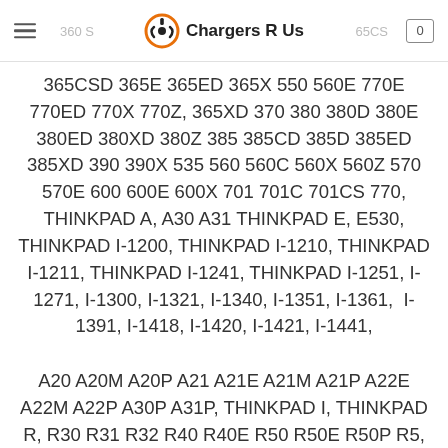Chargers R Us — hamburger menu, logo, cart icon; background text: 360 S, 65CS
365CSD 365E 365ED 365X 550 560E 770E 770ED 770X 770Z, 365XD 370 380 380D 380E 380ED 380XD 380Z 385 385CD 385D 385ED 385XD 390 390X 535 560 560C 560X 560Z 570 570E 600 600E 600X 701 701C 701CS 770, THINKPAD A, A30 A31 THINKPAD E, E530, THINKPAD I-1200, THINKPAD I-1210, THINKPAD I-1211, THINKPAD I-1241, THINKPAD I-1251, I-1271, I-1300, I-1321, I-1340, I-1351, I-1361, I-1391, I-1418, I-1420, I-1421, I-1441,
A20 A20M A20P A21 A21E A21M A21P A22E A22M A22P A30P A31P, THINKPAD I, THINKPAD R, R30 R31 R32 R40 R40E R50 R50E R50P R5, THINKPAD T, T20, T21 T22 T23 T30 T40 T40P T41 T41P T42 T42P T43 THINKPAD X,